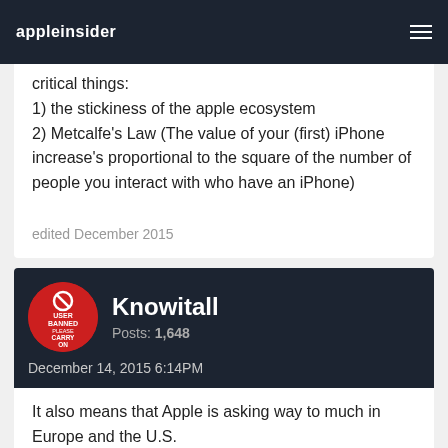appleinsider
critical things:
1) the stickiness of the apple ecosystem
2) Metcalfe's Law (The value of your (first) iPhone increase's proportional to the square of the number of people you interact with who have an iPhone)
edited December 2015
Knowitall
Posts: 1,648
December 14, 2015 6:14PM
It also means that Apple is asking way to much in Europe and the U.S.
I'm expecting a fair price for the iPhone 6s/+ say $300/$350.
Similar for the 7 next year.